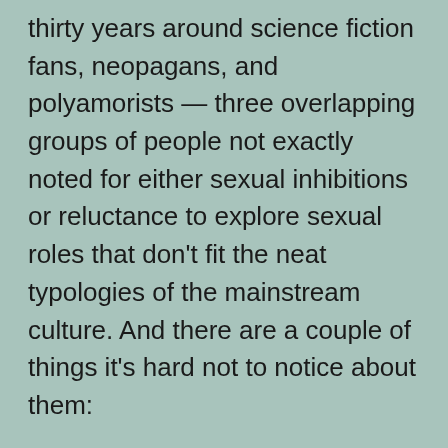thirty years around science fiction fans, neopagans, and polyamorists — three overlapping groups of people not exactly noted for either sexual inhibitions or reluctance to explore sexual roles that don't fit the neat typologies of the mainstream culture. And there are a couple of things it's hard not to notice about them:
First, a huge majority of the women in these cultures are bisexual. To the point where I just assume any female I meet in these contexts is bi. This reality is only slightly obscured by the fact that many of these women describe